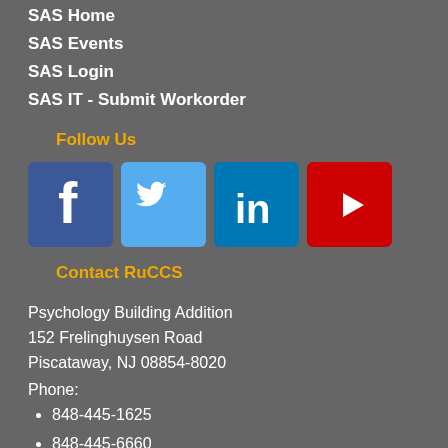SAS Home
SAS Events
SAS Login
SAS IT - Submit Workorder
Follow Us
[Figure (infographic): Social media icons: Facebook (blue), Twitter (light blue), LinkedIn (dark blue), YouTube (red)]
Contact RuCCS
Psychology Building Addition
152 Frelinghuysen Road
Piscataway, NJ 08854-8020
Phone:
848-445-1625
848-445-6660